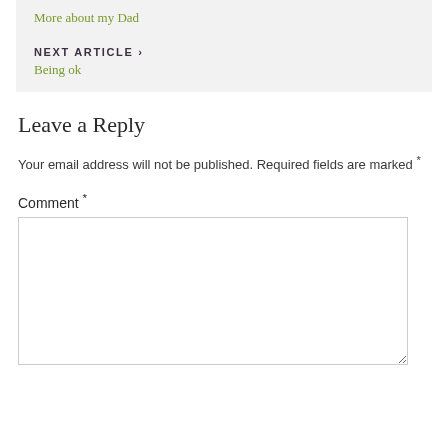More about my Dad
NEXT ARTICLE ›
Being ok
Leave a Reply
Your email address will not be published. Required fields are marked *
Comment *